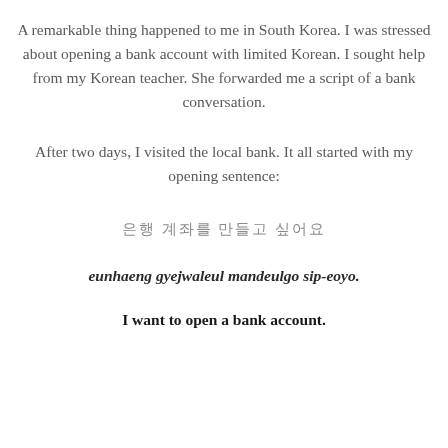A remarkable thing happened to me in South Korea. I was stressed about opening a bank account with limited Korean. I sought help from my Korean teacher. She forwarded me a script of a bank conversation.
After two days, I visited the local bank. It all started with my opening sentence:
은행 계좌를 만들고 싶어요
eunhaeng gyejwaleul mandeulgo sip-eoyo.
I want to open a bank account.